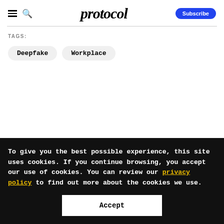protocol — Subscribe
TAGS:
Deepfake
Workplace
To give you the best possible experience, this site uses cookies. If you continue browsing, you accept our use of cookies. You can review our privacy policy to find out more about the cookies we use.
Accept